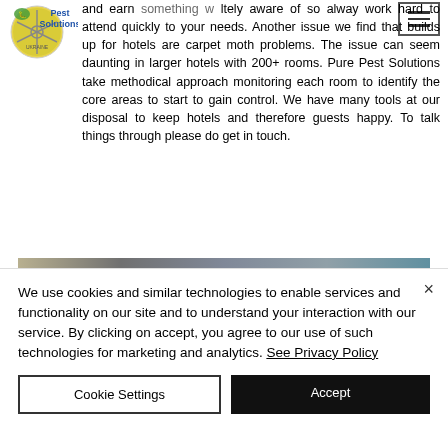[Figure (logo): Pure Pest Solutions logo with circular green/yellow emblem and blue text]
and earn something w ltely aware of so alway work hard to attend quickly to your needs. Another issue we find that builds up for hotels are carpet moth problems. The issue can seem daunting in larger hotels with 200+ rooms. Pure Pest Solutions take methodical approach monitoring each room to identify the core areas to start to gain control. We have many tools at our disposal to keep hotels and therefore guests happy. To talk things through please do get in touch.
[Figure (photo): Partial image strip showing a blurred/cropped photo at the bottom of the content area]
We use cookies and similar technologies to enable services and functionality on our site and to understand your interaction with our service. By clicking on accept, you agree to our use of such technologies for marketing and analytics. See Privacy Policy